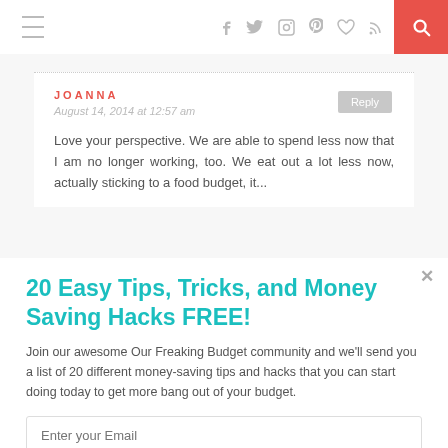Navigation bar with hamburger menu, social icons (f, twitter, instagram, pinterest, heart, rss), and search button
JOANNA
August 14, 2014 at 12:57 am
Love your perspective. We are able to spend less now that I am no longer working, too. We eat out a lot less now, actually sticking to a food budget, it...
20 Easy Tips, Tricks, and Money Saving Hacks FREE!
Join our awesome Our Freaking Budget community and we'll send you a list of 20 different money-saving tips and hacks that you can start doing today to get more bang out of your budget.
Enter your Email
Sign Me Up!